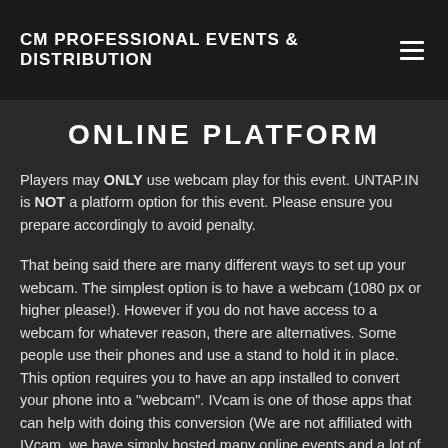CM PROFESSIONAL EVENTS & DISTRIBUTION
ONLINE PLATFORM
Players may ONLY use webcam play for this event. UNTAP.IN is NOT a platform option for this event. Please ensure you prepare accordingly to avoid penalty.
That being said there are many different ways to set up your webcam. The simplest option is to have a webcam (1080 px or higher please!). However if you do not have access to a webcam for whatever reason, there are alternatives. Some people use their phones and use a stand to hold it in place. This option requires you to have an app installed to convert your phone into a "webcam". IVcam is one of those apps that can help with doing this conversion (We are not affiliated with IVcam, we have simply hosted many online events and a lot of the